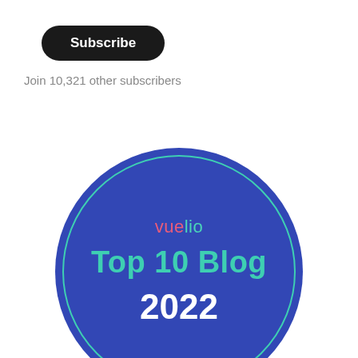[Figure (other): Black rounded rectangle Subscribe button]
Join 10,321 other subscribers
[Figure (logo): Vuelio Top 10 Blog 2022 badge — a dark blue circle with a teal inner ring border. Inside: 'vuelio' in pink and teal text, 'Top 10 Blog' in large teal bold text, '2022' in large white bold text.]